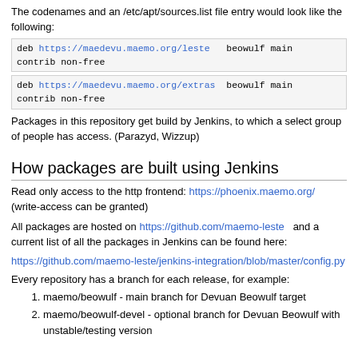The codenames and an /etc/apt/sources.list file entry would look like the following:
deb https://maedevu.maemo.org/leste   beowulf main contrib non-free
deb https://maedevu.maemo.org/extras   beowulf main contrib non-free
Packages in this repository get build by Jenkins, to which a select group of people has access. (Parazyd, Wizzup)
How packages are built using Jenkins
Read only access to the http frontend: https://phoenix.maemo.org/ (write-access can be granted)
All packages are hosted on https://github.com/maemo-leste and a current list of all the packages in Jenkins can be found here:
https://github.com/maemo-leste/jenkins-integration/blob/master/config.py
Every repository has a branch for each release, for example:
maemo/beowulf - main branch for Devuan Beowulf target
maemo/beowulf-devel - optional branch for Devuan Beowulf with unstable/testing version